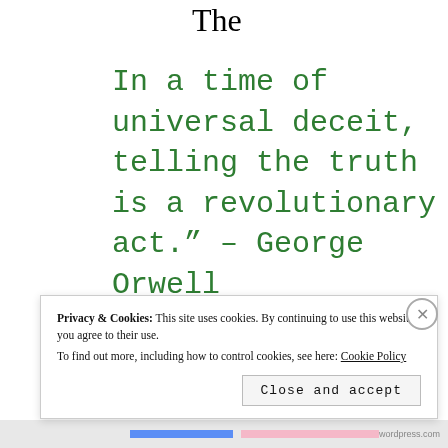The
In a time of universal deceit, telling the truth is a revolutionary act.” – George Orwell
Privacy & Cookies: This site uses cookies. By continuing to use this website, you agree to their use. To find out more, including how to control cookies, see here: Cookie Policy
Close and accept